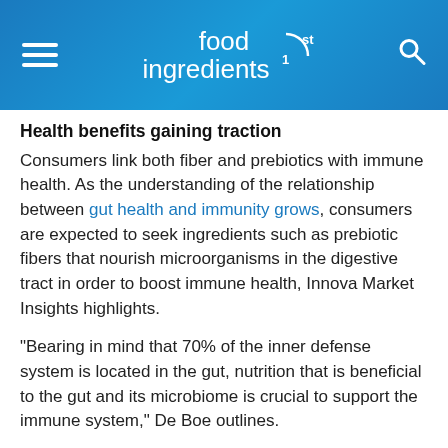food ingredients 1st
Health benefits gaining traction
Consumers link both fiber and prebiotics with immune health. As the understanding of the relationship between gut health and immunity grows, consumers are expected to seek ingredients such as prebiotic fibers that nourish microorganisms in the digestive tract in order to boost immune health, Innova Market Insights highlights.
“Bearing in mind that 70% of the inner defense system is located in the gut, nutrition that is beneficial to the gut and its microbiome is crucial to support the immune system,” De Boe outlines.
“Prebiotic fibers selectively promote the growth of good bacteria, contributing to a healthy microbiota. The consumption of chicory root fiber and its complete prebiotic fermentation leads to a positive shift in microbiota composition.”
Limagrain’s survey highlights that the health benefits of fiber are fairly well known, including its ability to improve